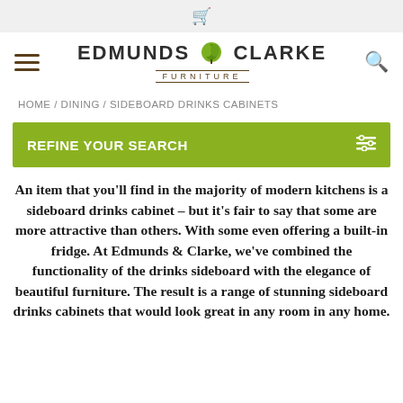[cart icon]
[Figure (logo): Edmunds & Clarke Furniture logo with tree icon, hamburger menu on left, search icon on right]
HOME / DINING / SIDEBOARD DRINKS CABINETS
REFINE YOUR SEARCH
An item that you'll find in the majority of modern kitchens is a sideboard drinks cabinet – but it's fair to say that some are more attractive than others. With some even offering a built-in fridge. At Edmunds & Clarke, we've combined the functionality of the drinks sideboard with the elegance of beautiful furniture. The result is a range of stunning sideboard drinks cabinets that would look great in any room in any home.